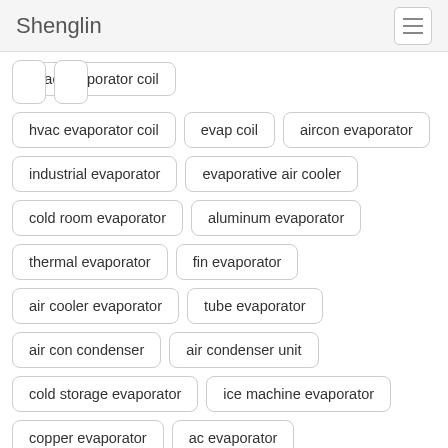Shenglin
hvac evaporator coil
evap coil
aircon evaporator
industrial evaporator
evaporative air cooler
cold room evaporator
aluminum evaporator
thermal evaporator
fin evaporator
air cooler evaporator
tube evaporator
air con condenser
air condenser unit
cold storage evaporator
ice machine evaporator
copper evaporator
ac evaporator
freezer evaporator
nitrogen evaporator
finned tube evaporator
evaporator refrigerator